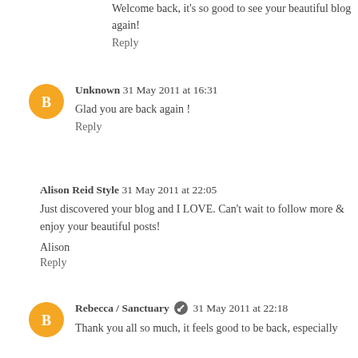Welcome back, it's so good to see your beautiful blog again!
Reply
Unknown  31 May 2011 at 16:31
Glad you are back again !
Reply
Alison Reid Style  31 May 2011 at 22:05
Just discovered your blog and I LOVE. Can't wait to follow more & enjoy your beautiful posts!
Alison
Reply
Rebecca / Sanctuary  31 May 2011 at 22:18
Thank you all so much, it feels good to be back, especially with such gorgeous comments :)